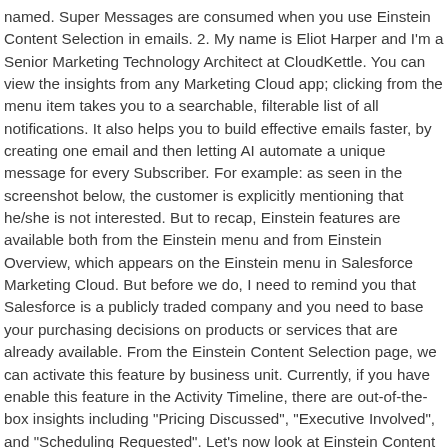named. Super Messages are consumed when you use Einstein Content Selection in emails. 2. My name is Eliot Harper and I'm a Senior Marketing Technology Architect at CloudKettle. You can view the insights from any Marketing Cloud app; clicking from the menu item takes you to a searchable, filterable list of all notifications. It also helps you to build effective emails faster, by creating one email and then letting AI automate a unique message for every Subscriber. For example: as seen in the screenshot below, the customer is explicitly mentioning that he/she is not interested. But to recap, Einstein features are available both from the Einstein menu and from Einstein Overview, which appears on the Einstein menu in Salesforce Marketing Cloud. But before we do, I need to remind you that Salesforce is a publicly traded company and you need to base your purchasing decisions on products or services that are already available. From the Einstein Content Selection page, we can activate this feature by business unit. Currently, if you have enable this feature in the Activity Timeline, there are out-of-the-box insights including "Pricing Discussed", "Executive Involved", and "Scheduling Requested". Let's now look at Einstein Content Selection in Salesforce Marketing Cloud. Asset classes helps Einstein make the best, most context-rich selections. Emails and events will be added to Salesforce